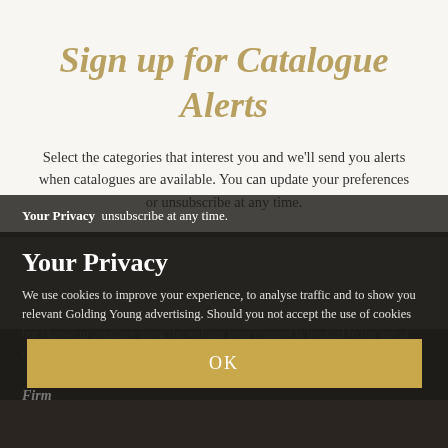Sign up for Catalogue Alerts
Select the categories that interest you and we'll send you alerts when catalogues are available. You can update your preferences or unsubscribe at any time.
Your Privacy
We use cookies to improve your experience, to analyse traffic and to show you relevant Golding Young advertising. Should you not accept the use of cookies but choose to continue using the website your consent is implied to the use of cookies that are used for data analytical purposes. More information.
OK